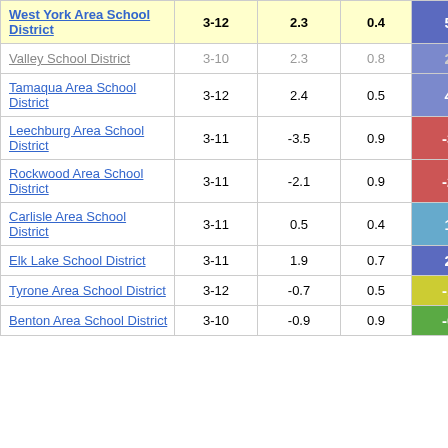| School District | Grades | Avg Change | Std Err | Score |
| --- | --- | --- | --- | --- |
| West York Area School District | 3-12 | 2.3 | 0.4 | 5.18 |
| Valley School District | 3-10 | 2.3 | 0.8 | 2.63 |
| Tamaqua Area School District | 3-12 | 2.4 | 0.5 | 4.51 |
| Leechburg Area School District | 3-11 | -3.5 | 0.9 | -3.84 |
| Rockwood Area School District | 3-11 | -2.1 | 0.9 | -2.35 |
| Carlisle Area School District | 3-11 | 0.5 | 0.4 | 1.21 |
| Elk Lake School District | 3-11 | 1.9 | 0.7 | 2.92 |
| Tyrone Area School District | 3-12 | -0.7 | 0.5 | -1.29 |
| Benton Area School District | 3-10 | -0.9 | 0.9 | -0.98 |